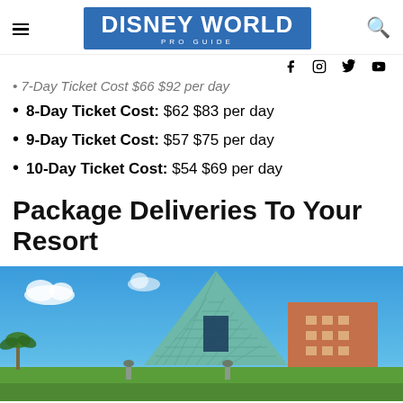DISNEY WORLD PRO GUIDE
7-Day Ticket Cost: $66 $92 per day (partial, cut off)
8-Day Ticket Cost: $62 $83 per day
9-Day Ticket Cost: $57 $75 per day
10-Day Ticket Cost: $54 $69 per day
Package Deliveries To Your Resort
[Figure (photo): Exterior photo of a Disney World resort hotel with a large teal pyramid-shaped architectural feature against a blue sky, with an orange hotel building visible to the right and palm trees at ground level.]